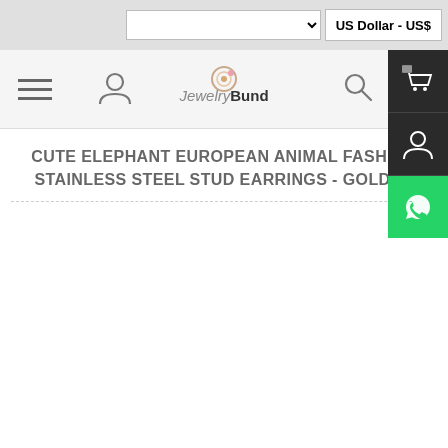US Dollar - US$
[Figure (screenshot): JewelryBund website navigation bar with hamburger menu, user icon, logo, search icon, and cart icon with 0 badge]
CUTE ELEPHANT EUROPEAN ANIMAL FASHION STAINLESS STEEL STUD EARRINGS - GOLDEN
[Figure (screenshot): Sidebar panel with dark background showing cart icon, user icon, and WhatsApp green icon]